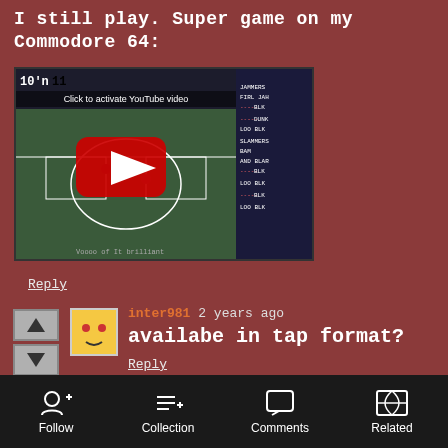I still play. Super game on my Commodore 64:
[Figure (screenshot): YouTube video embed placeholder showing a Commodore 64 basketball game screenshot with a YouTube play button overlay and text 'Click to activate YouTube video']
Reply
inter981  2 years ago
availabe in tap format?
Reply
Follow  Collection  Comments  Related